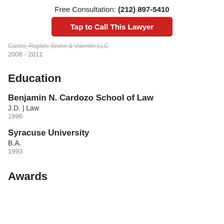Free Consultation: (212) 897-5410
Tap to Call This Lawyer
2006 - 2011
Education
Benjamin N. Cardozo School of Law
J.D.  |  Law
1996
Syracuse University
B.A.
1993
Awards